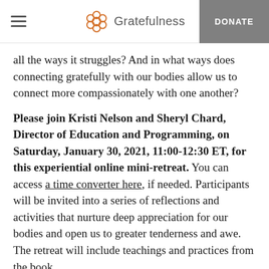Gratefulness | DONATE
all the ways it struggles? And in what ways does connecting gratefully with our bodies allow us to connect more compassionately with one another?
Please join Kristi Nelson and Sheryl Chard, Director of Education and Programming, on Saturday, January 30, 2021, 11:00-12:30 ET, for this experiential online mini-retreat. You can access a time converter here, if needed. Participants will be invited into a series of reflections and activities that nurture deep appreciation for our bodies and open us to greater tenderness and awe. The retreat will include teachings and practices from the book